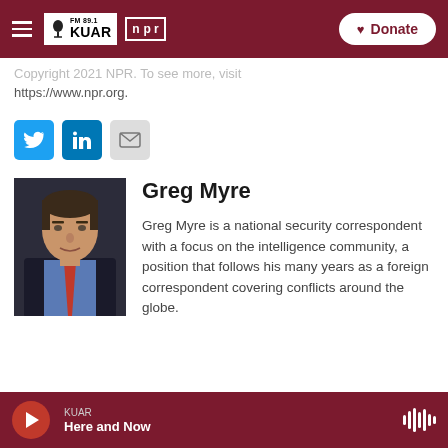FM 89.1 KUAR | NPR — Donate
Copyright 2021 NPR. To see more, visit https://www.npr.org.
[Figure (other): Social sharing buttons: Twitter (blue bird icon), LinkedIn (blue 'in' icon), Email (envelope icon)]
[Figure (photo): Professional headshot of Greg Myre, a middle-aged man in a dark suit and blue shirt with a red tie, against a dark background]
Greg Myre
Greg Myre is a national security correspondent with a focus on the intelligence community, a position that follows his many years as a foreign correspondent covering conflicts around the globe.
KUAR — Here and Now